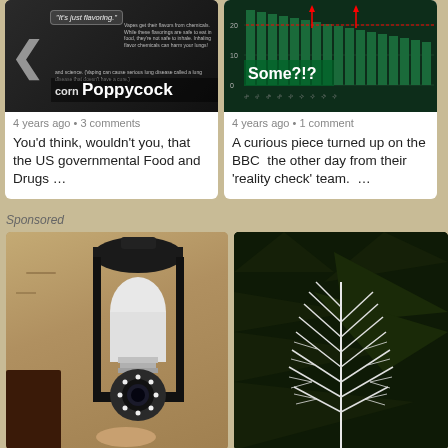[Figure (screenshot): Article card with dark background showing left chevron arrow and text 'corn Poppycock' with quote bubble saying 'It's just flavoring.']
4 years ago • 3 comments
You'd think, wouldn't you, that the US governmental Food and Drugs …
[Figure (bar-chart): Bar chart with dark green bars and red trend line, label 'Some?!?']
4 years ago • 1 comment
A curious piece turned up on the BBC  the other day from their 'reality check' team.  …
Sponsored
[Figure (photo): Outdoor security camera mounted in a black lantern fixture on a stucco wall, a white light-bulb shaped camera with circular LED ring]
[Figure (photo): White feathery plant or coral-like structure against dark green pine tree background]